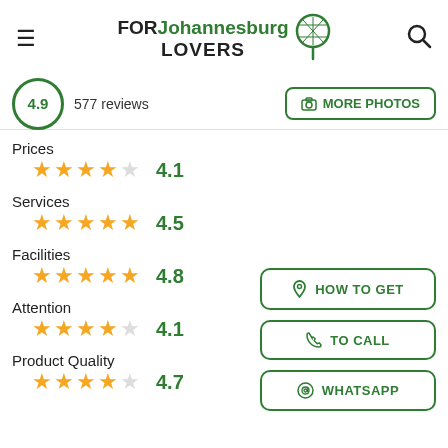FOR Johannesburg LOVERS
4.9  577 reviews
MORE PHOTOS
Prices  ★★★★☆  4.1
Services  ★★★★½  4.5
Facilities  ★★★★★  4.8
Attention  ★★★★☆  4.1
Product Quality  ★★★★½  4.7
HOW TO GET
TO CALL
WHATSAPP